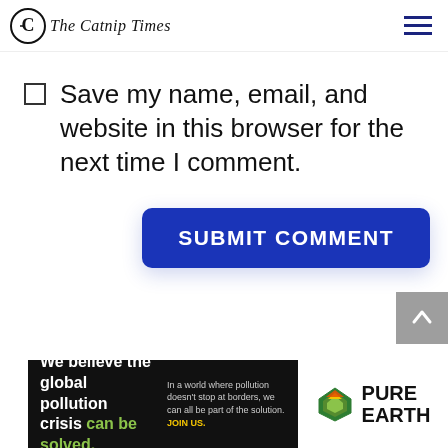The Catnip Times
Save my name, email, and website in this browser for the next time I comment.
SUBMIT COMMENT
[Figure (screenshot): Pure Earth advertisement banner: black left panel with text 'We believe the global pollution crisis can be solved.' and right panel with Pure Earth logo and diamond icon]
In a world where pollution doesn't stop at borders, we can all be part of the solution. JOIN US.